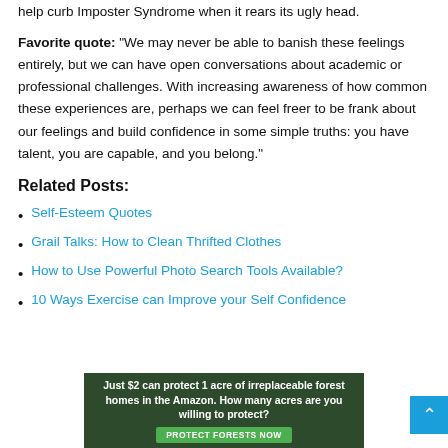help curb Imposter Syndrome when it rears its ugly head.
Favorite quote: “We may never be able to banish these feelings entirely, but we can have open conversations about academic or professional challenges. With increasing awareness of how common these experiences are, perhaps we can feel freer to be frank about our feelings and build confidence in some simple truths: you have talent, you are capable, and you belong.”
Related Posts:
Self-Esteem Quotes
Grail Talks: How to Clean Thrifted Clothes
How to Use Powerful Photo Search Tools Available?
10 Ways Exercise can Improve your Self Confidence
[Figure (infographic): Advertisement banner: dark green background with text 'Just $2 can protect 1 acre of irreplaceable forest homes in the Amazon. How many acres are you willing to protect?' and a green 'PROTECT FORESTS NOW' button.]